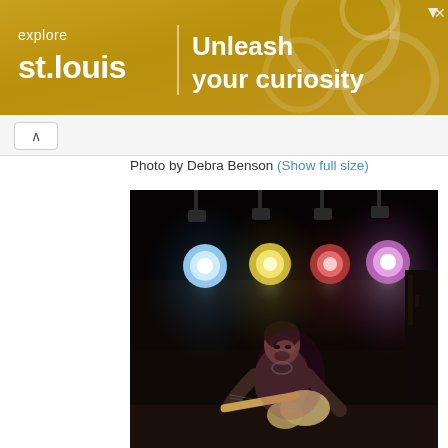[Figure (other): Advertisement banner for Explore St. Louis with text 'explore st.louis | Unleash your curiosity' on a golden gear background]
Photo by Debra Benson (Show full size)
[Figure (photo): Concert photo showing a guitarist performing on a dark stage with four stage lights (blue, yellow, red, magenta/white) visible above]